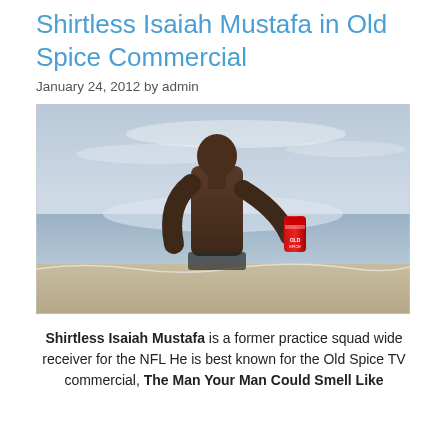Shirtless Isaiah Mustafa in Old Spice Commercial
January 24, 2012 by admin
[Figure (photo): Shirtless man (Isaiah Mustafa) standing on a beach holding a red Old Spice deodorant can, with ocean and sky in background.]
Shirtless Isaiah Mustafa is a former practice squad wide receiver for the NFL He is best known for the Old Spice TV commercial, The Man Your Man Could Smell Like